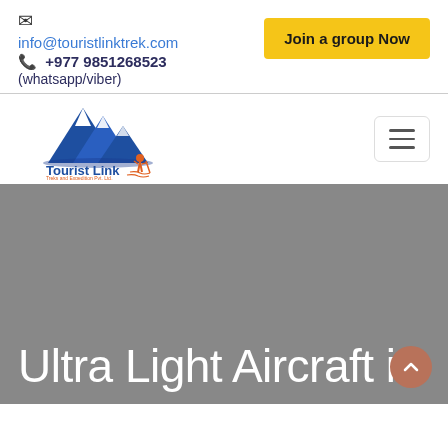✉ info@touristlinktrek.com
📞 +977 9851268523 (whatsapp/viber)
Join a group Now
[Figure (logo): Tourist Link Treks and Expedition Pvt. Ltd. logo with blue mountain graphic and orange hiker figure]
[Figure (other): Hamburger menu icon button]
[Figure (photo): Gray background hero image area]
Ultra Light Aircraft in